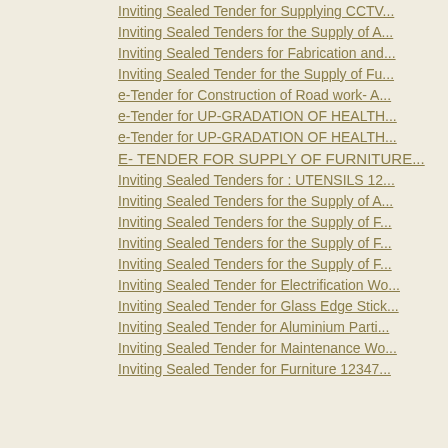Inviting Sealed Tender for Supplying CCTV...
Inviting Sealed Tenders for the Supply of A...
Inviting Sealed Tenders for Fabrication and...
Inviting Sealed Tender for the Supply of Fu...
e-Tender for Construction of Road work- A...
e-Tender for UP-GRADATION OF HEALTH...
e-Tender for UP-GRADATION OF HEALTH...
E- TENDER FOR SUPPLY OF FURNITURE...
Inviting Sealed Tenders for : UTENSILS 12...
Inviting Sealed Tenders for the Supply of A...
Inviting Sealed Tenders for the Supply of F...
Inviting Sealed Tenders for the Supply of F...
Inviting Sealed Tenders for the Supply of F...
Inviting Sealed Tender for Electrification Wo...
Inviting Sealed Tender for Glass Edge Stick...
Inviting Sealed Tender for Aluminium Parti...
Inviting Sealed Tender for Maintenance Wo...
Inviting Sealed Tender for Furniture 12347...